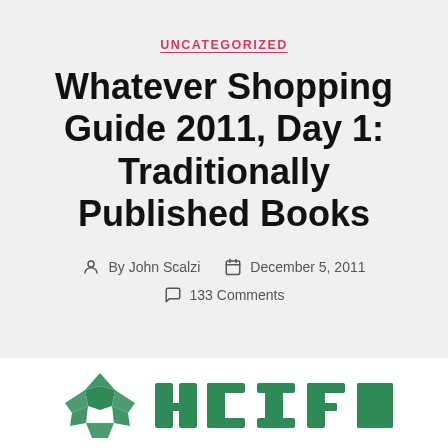UNCATEGORIZED
Whatever Shopping Guide 2011, Day 1: Traditionally Published Books
By John Scalzi   December 5, 2011   133 Comments
[Figure (logo): Partial logo visible at bottom of page, green geometric/book icon with stylized text]